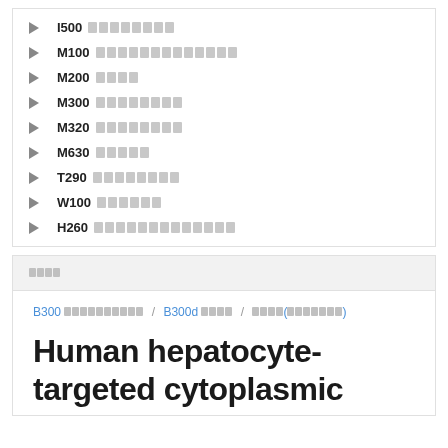I500 ████████
M100 █████████████
M200 ████
M300 ████████
M320 ████████
M630 █████
T290 ████████
W100 ███████
H260 █████████████
████
B300 ██████████ / B300d ████ / ████(███████)
Human hepatocyte-targeted cytoplasmic